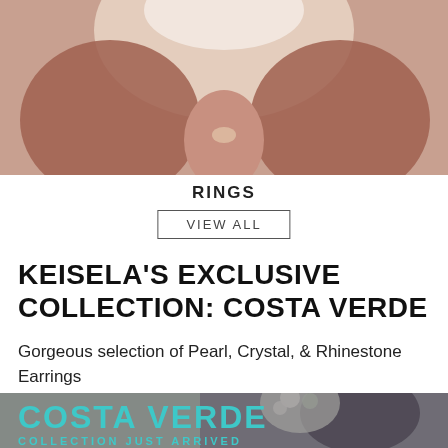[Figure (photo): Top portion of page showing a person's back/hands area, close-up skin tones, bright light background]
RINGS
VIEW ALL
KEISELA'S EXCLUSIVE COLLECTION: COSTA VERDE
Gorgeous selection of Pearl, Crystal, & Rhinestone Earrings
[Figure (photo): Bottom photo showing a couple outdoors, rocky landscape, woman holding a bouquet of flowers, overlaid with turquoise text COSTA VERDE and COLLECTION JUST ARRIVED]